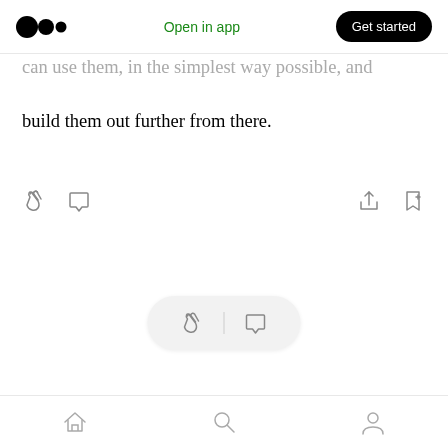Open in app  Get started
can use them, in the simplest way possible, and build them out further from there.
[Figure (screenshot): Interactive action icons row: clap icon, comment icon on left; share icon, bookmark icon on right]
[Figure (screenshot): Floating pill with clap icon, divider, and comment icon]
Get an email whenever Georgi Kamacharov publishes.
Home, Search, Profile navigation icons